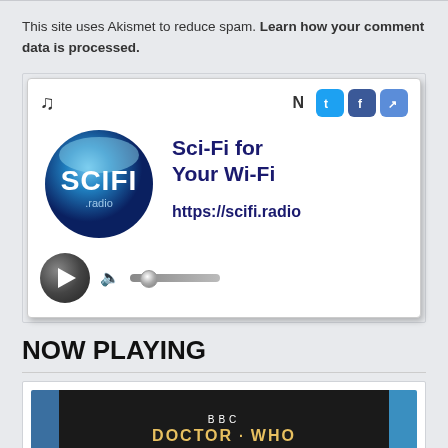This site uses Akismet to reduce spam. Learn how your comment data is processed.
[Figure (screenshot): SCIFI.radio web player widget showing logo, social icons, play button, volume slider, with text 'Sci-Fi for Your Wi-Fi' and URL 'https://scifi.radio']
NOW PLAYING
[Figure (screenshot): Album art for BBC Doctor Who Original Television Soundtrack with colorful abstract background]